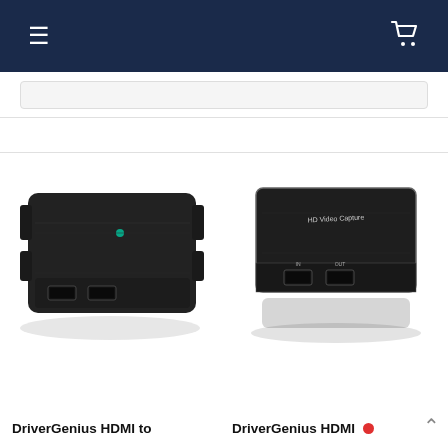Navigation bar with hamburger menu and cart icon
[Figure (photo): DriverGenius HDMI to [something] device - black rectangular USB capture card with two HDMI ports on front edge]
[Figure (photo): DriverGenius HDMI video capture card - black rectangular device labeled 'HD Video Capture' with two HDMI ports]
DriverGenius HDMI to
DriverGenius HDMI